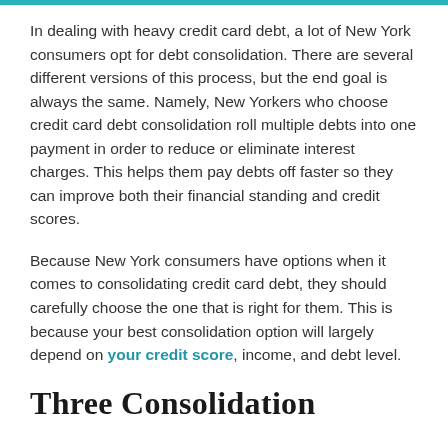In dealing with heavy credit card debt, a lot of New York consumers opt for debt consolidation. There are several different versions of this process, but the end goal is always the same. Namely, New Yorkers who choose credit card debt consolidation roll multiple debts into one payment in order to reduce or eliminate interest charges. This helps them pay debts off faster so they can improve both their financial standing and credit scores.
Because New York consumers have options when it comes to consolidating credit card debt, they should carefully choose the one that is right for them. This is because your best consolidation option will largely depend on your credit score, income, and debt level.
Three Consolidation